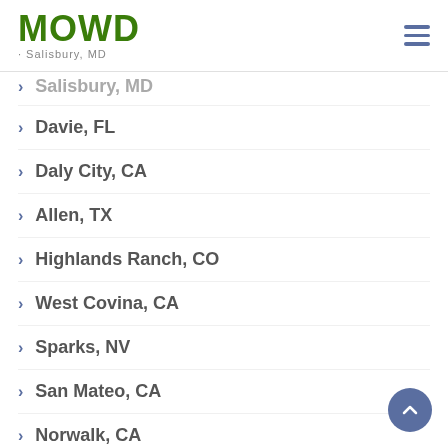MOWD - Salisbury, MD
Salisbury, MD
Davie, FL
Daly City, CA
Allen, TX
Highlands Ranch, CO
West Covina, CA
Sparks, NV
San Mateo, CA
Norwalk, CA
Columbia, MD
Rialto, CA